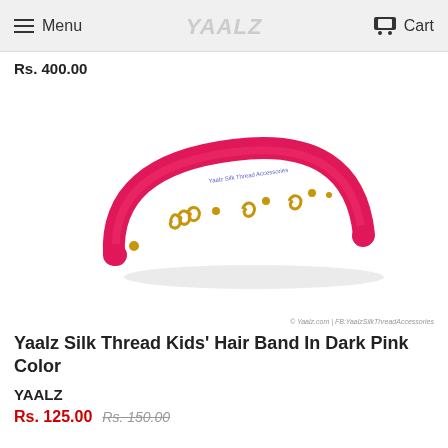Menu  Cart
Rs. 400.00
[Figure (photo): A dark pink / hot pink silk thread kids' hair band with gold decorative elements including swirls and dots. The headband is curved in a semicircle shape. A small label reads 'Yaalz Silk Thread Accessories'.]
© Yaalz.com | FB:YaalzSilkThreadAccessories
Yaalz Silk Thread Kids' Hair Band In Dark Pink Color
YAALZ
Rs. 125.00  Rs. 150.00